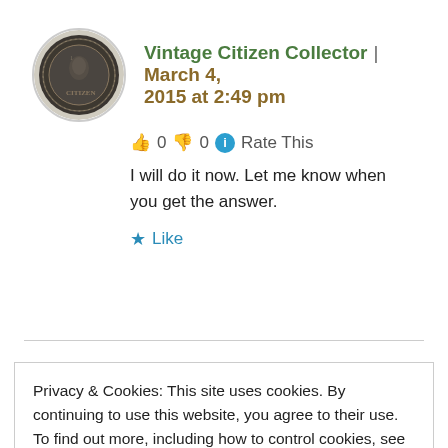[Figure (photo): Circular avatar showing a vintage coin, dark in color]
Vintage Citizen Collector | March 4, 2015 at 2:49 pm
👍 0 👎 0 ℹ Rate This
I will do it now. Let me know when you get the answer.
★ Like
Privacy & Cookies: This site uses cookies. By continuing to use this website, you agree to their use.
To find out more, including how to control cookies, see here: Cookie Policy
Close and accept